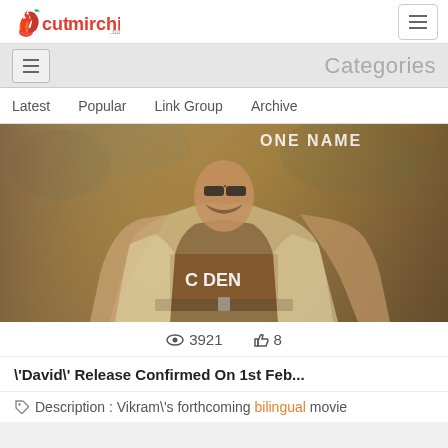cutmirchi.com — Categories
[Figure (photo): Movie poster showing a muscular man in a partially open shirt with text 'ONE NAME' and 'C DEN...' visible on his shirt]
👁 3921   👍 8
\'David\' Release Confirmed On 1st Feb...
Description : Vikram\'s forthcoming bilingual movie